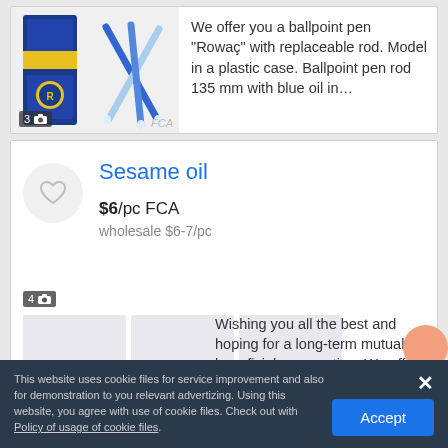[Figure (photo): Ballpoint pen product with box, partial card top]
We offer you a ballpoint pen "Rowaç" with replaceable rod. Model in a plastic case. Ballpoint pen rod 135 mm with blue oil in...
Sesame oil
$6/pc FCA
wholesale $6-7/pc
[Figure (photo): 4 photos badge with placeholder images for sesame oil product]
Wishing you all the best and hoping for a long-term mutually beneficial cooperation. We offer you our 100% unrefined first-...
This website uses cookie files for service improvement and also for demonstration to you relevant advertizing. Using this website, you agree with use of cookie files. Check out with Policy of usage of cookie files.